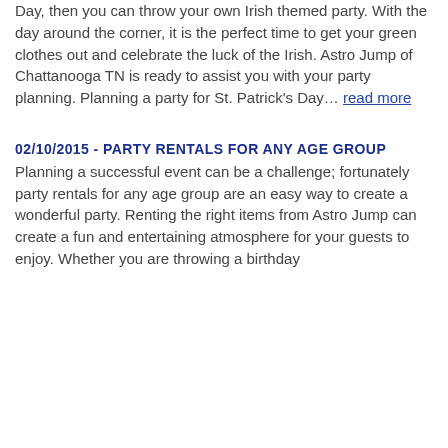Day, then you can throw your own Irish themed party. With the day around the corner, it is the perfect time to get your green clothes out and celebrate the luck of the Irish. Astro Jump of Chattanooga TN is ready to assist you with your party planning. Planning a party for St. Patrick's Day… read more
02/10/2015 - PARTY RENTALS FOR ANY AGE GROUP
Planning a successful event can be a challenge; fortunately party rentals for any age group are an easy way to create a wonderful party. Renting the right items from Astro Jump can create a fun and entertaining atmosphere for your guests to enjoy. Whether you are throwing a birthday